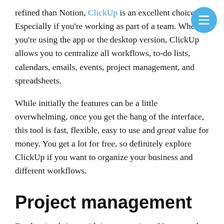refined than Notion, ClickUp is an excellent choice. Especially if you're working as part of a team. Whether you're using the app or the desktop version, ClickUp allows you to centralize all workflows, to-do lists, calendars, emails, events, project management, and spreadsheets.
While initially the features can be a little overwhelming, once you get the hang of the interface, this tool is fast, flexible, easy to use and great value for money. You get a lot for free, so definitely explore ClickUp if you want to organize your business and different workflows.
Project management
Freelancing brings with it so many joys. You control your schedule, choose your clients, and have the ability to make more money than you ever would've done at your